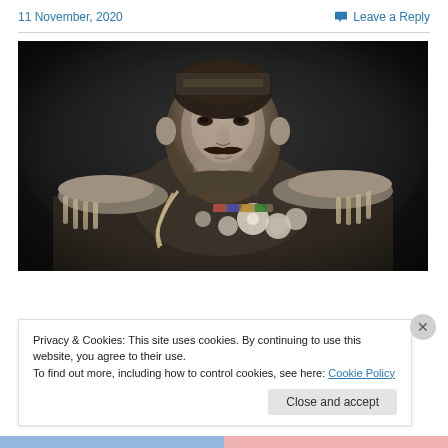11 November, 2020   Leave a Reply
[Figure (photo): Black and white portrait photograph of a military officer in full dress uniform with medals, braided epaulettes, and decorations. The man has a mustache and looks directly at the camera.]
Privacy & Cookies: This site uses cookies. By continuing to use this website, you agree to their use.
To find out more, including how to control cookies, see here: Cookie Policy
Close and accept